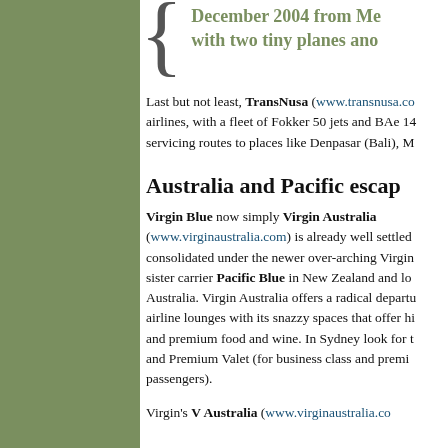December 2004 from Me... with two tiny planes and...
Last but not least, TransNusa (www.transnusa.co...) airlines, with a fleet of Fokker 50 jets and BAe 14... servicing routes to places like Denpasar (Bali), M...
Australia and Pacific escap...
Virgin Blue now simply Virgin Australia (www.virginaustralia.com) is already well settled... consolidated under the newer over-arching Virgin... sister carrier Pacific Blue in New Zealand and lo... Australia. Virgin Australia offers a radical departu... airline lounges with its snazzy spaces that offer hi... and premium food and wine. In Sydney look for t... and Premium Valet (for business class and premi... passengers).
Virgin's V Australia (www.virginaustralia.co...